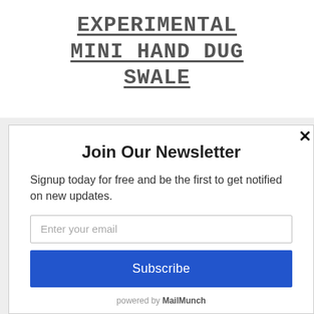EXPERIMENTAL MINI HAND DUG SWALE
Join Our Newsletter
Signup today for free and be the first to get notified on new updates.
Enter your email
Subscribe
powered by MailMunch